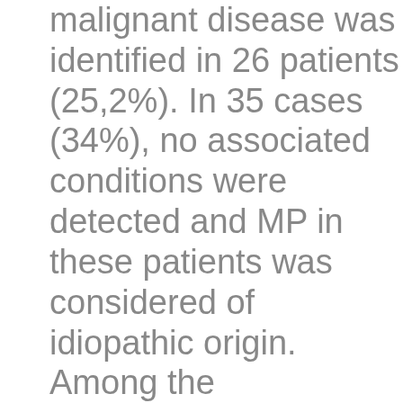malignant disease was identified in 26 patients (25,2%). In 35 cases (34%), no associated conditions were detected and MP in these patients was considered of idiopathic origin. Among the malignancies observed, the most common were lymphoma (11 patients,